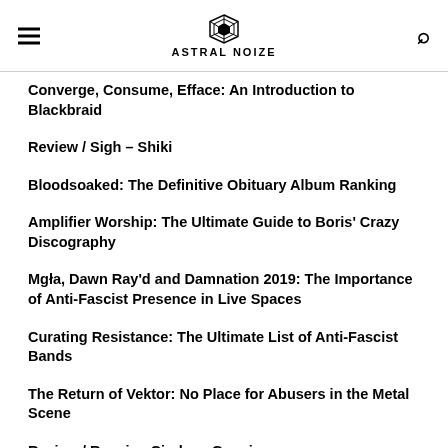ASTRAL NOIZE
Converge, Consume, Efface: An Introduction to Blackbraid
Review / Sigh – Shiki
Bloodsoaked: The Definitive Obituary Album Ranking
Amplifier Worship: The Ultimate Guide to Boris' Crazy Discography
Mgła, Dawn Ray'd and Damnation 2019: The Importance of Anti-Fascist Presence in Live Spaces
Curating Resistance: The Ultimate List of Anti-Fascist Bands
The Return of Vektor: No Place for Abusers in the Metal Scene
Review / Russian Circles - Gnosis
Under The Radar: 14 Must-Hear Bands from the Stoner Rock and Metal Underground
RECENT POSTS